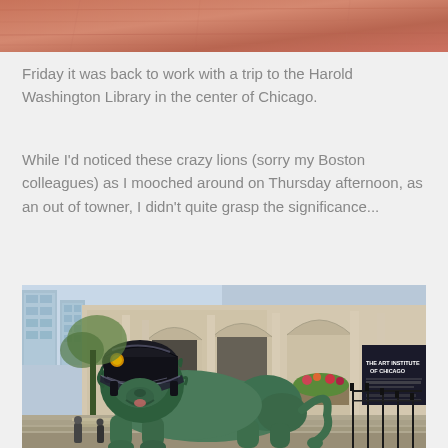[Figure (photo): Partial image at top of page showing a textured orange-red surface, cropped]
Friday it was back to work with a trip to the Harold Washington Library in the center of Chicago.
While I'd noticed these crazy lions (sorry my Boston colleagues) as I mooched around on Thursday afternoon, as an out of towner, I didn't quite grasp the significance...
[Figure (photo): Photo of the bronze lion statue outside The Art Institute of Chicago, wearing a black police/sports helmet with visor. The lion is green patina bronze, shown in front of the classical stone building facade with arched windows and 'THE ART INSTITUTE OF CHICAGO' signage visible on the right.]